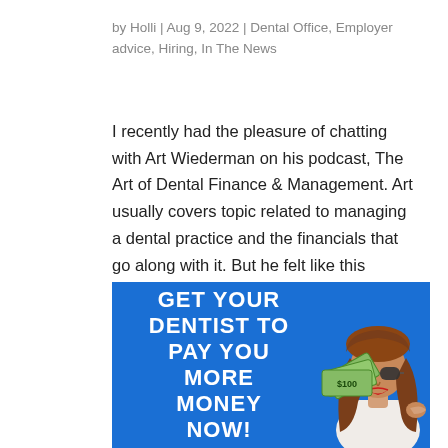by Holli | Aug 9, 2022 | Dental Office, Employer advice, Hiring, In The News
I recently had the pleasure of chatting with Art Wiederman on his podcast, The Art of Dental Finance & Management. Art usually covers topic related to managing a dental practice and the financials that go along with it. But he felt like this current job market and...
[Figure (illustration): Promotional banner image on blue background with bold white text reading 'GET YOUR DENTIST TO PAY YOU MORE MONEY NOW!' on the left, and an illustrated woman with sunglasses holding a fan of dollar bills on the right.]